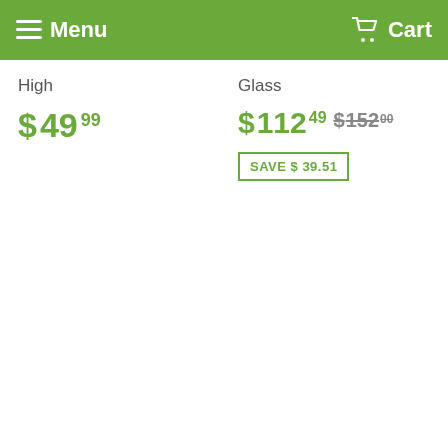Menu   Cart
High
$ 4999
Glass
$ 11249  $ 15200
SAVE $ 39.51